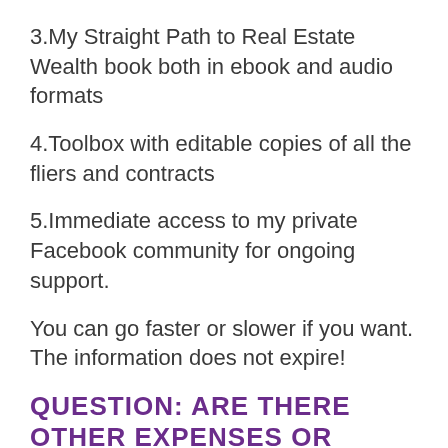3.My Straight Path to Real Estate Wealth book both in ebook and audio formats
4.Toolbox with editable copies of all the fliers and contracts
5.Immediate access to my private Facebook community for ongoing support.
You can go faster or slower if you want. The information does not expire!
QUESTION: ARE THERE OTHER EXPENSES OR OTHER PROGRAMS TO MAKE THIS WORK?
ANSWER: Nope. This program contains